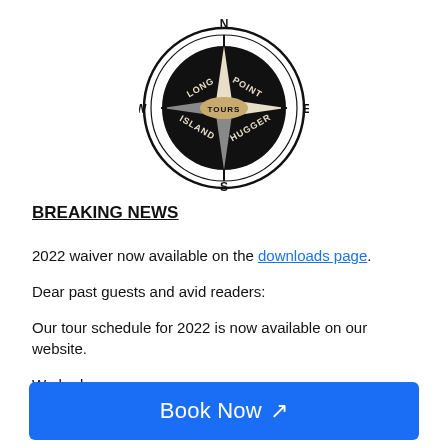[Figure (logo): Long Point Tours Island Hugger compass rose logo in black and white]
BREAKING NEWS
2022 waiver now available on the downloads page.
Dear past guests and avid readers:
Our tour schedule for 2022 is now available on our website.
We ha[ve updated our tours and] have [made changes for] 2022.
Book Now ↗